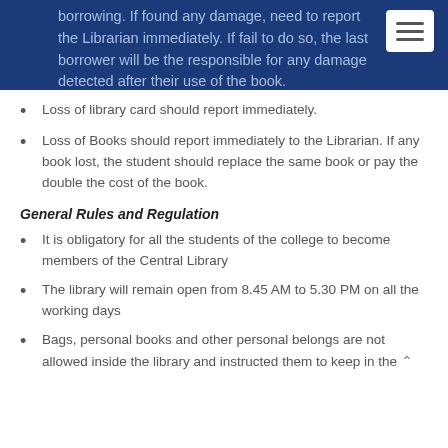borrowing. If found any damage, need to report the Librarian immediately. If fail to do so, the last borrower will be the responsible for any damage detected after their use of the book.
Loss of library card should report immediately.
Loss of Books should report immediately to the Librarian. If any book lost, the student should replace the same book or pay the double the cost of the book.
General Rules and Regulation
It is obligatory for all the students of the college to become members of the Central Library
The library will remain open from 8.45 AM to 5.30 PM on all the working days
Bags, personal books and other personal belongs are not allowed inside the library and instructed them to keep in the